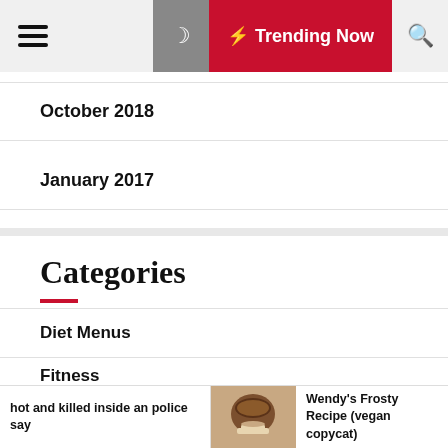Trending Now
October 2018
January 2017
Categories
Diet Menus
Fitness
Healthy Lifestyle
hot and killed inside an police say | Wendy's Frosty Recipe (vegan copycat)